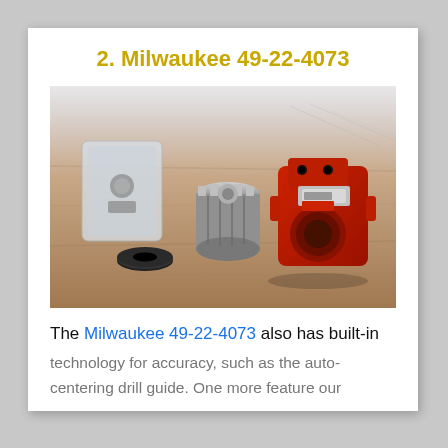2. Milwaukee 49-22-4073
[Figure (photo): Photo of Milwaukee 49-22-4073 hole saw kit components laid out on a wooden surface: a red drill guide/attachment, a cylindrical hole saw bit, a small plastic bag with hardware, and a black arbor ring.]
The Milwaukee 49-22-4073 also has built-in technology for accuracy, such as the auto-centering drill guide. One more feature our